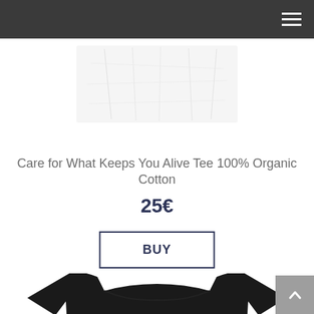Navigation header with hamburger menu
[Figure (photo): White folded t-shirt on white background, partially visible at top of page]
Care for What Keeps You Alive Tee 100% Organic Cotton
25€
BUY
[Figure (photo): Black t-shirt with nature/forest graphic print, partially visible at bottom of page]